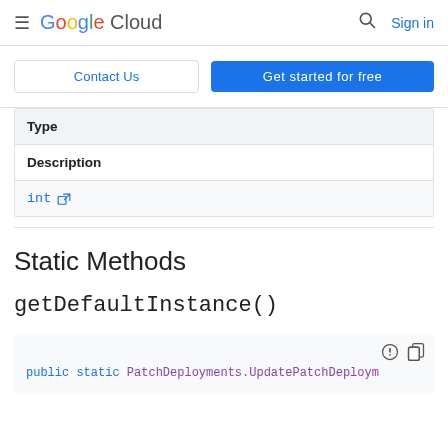Google Cloud  Sign in
Contact Us | Get started for free
| Type |
| --- |
| Description |
| int [external link] |
Static Methods
getDefaultInstance()
public static PatchDeployments.UpdatePatchDeploym